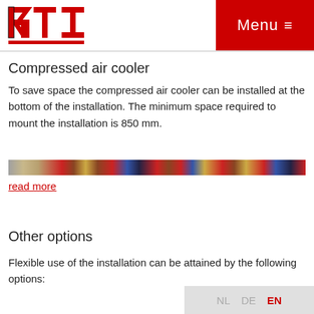[Figure (logo): RTI company logo in red and black with stylized letters R, T, I]
Menu ≡
Compressed air cooler
To save space the compressed air cooler can be installed at the bottom of the installation. The minimum space required to mount the installation is 850 mm.
[Figure (photo): Horizontal strip photo showing compressed air cooler installation details]
read more
Other options
Flexible use of the installation can be attained by the following options:
NL  DE  EN